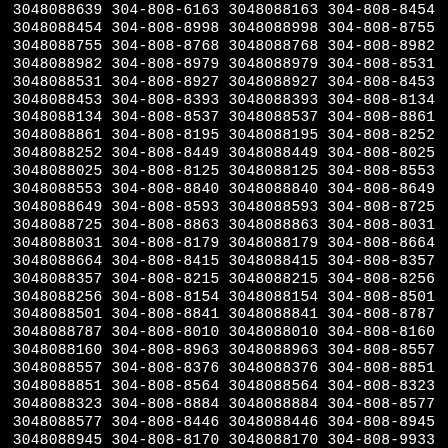3048088639 304-808-6163 3048088163 304-808-8454 3048088454 304-808-8998 3048088998 304-808-8755 3048088755 304-808-8768 3048088768 304-808-8982 3048088982 304-808-8979 3048088979 304-808-8531 3048088531 304-808-8927 3048088927 304-808-8453 3048088453 304-808-8393 3048088393 304-808-8134 3048088134 304-808-8537 3048088537 304-808-8861 3048088861 304-808-8195 3048088195 304-808-8252 3048088252 304-808-8449 3048088449 304-808-8025 3048088025 304-808-8125 3048088125 304-808-8553 3048088553 304-808-8840 3048088840 304-808-8649 3048088649 304-808-8593 3048088593 304-808-8725 3048088725 304-808-8863 3048088863 304-808-8031 3048088031 304-808-8179 3048088179 304-808-8664 3048088664 304-808-8415 3048088415 304-808-8357 3048088357 304-808-8215 3048088215 304-808-8256 3048088256 304-808-8154 3048088154 304-808-8501 3048088501 304-808-8841 3048088841 304-808-8787 3048088787 304-808-8010 3048088010 304-808-8160 3048088160 304-808-8963 3048088963 304-808-8557 3048088557 304-808-8376 3048088376 304-808-8851 3048088851 304-808-8564 3048088564 304-808-8323 3048088323 304-808-8884 3048088884 304-808-8577 3048088577 304-808-8446 3048088446 304-808-8945 3048088945 304-808-8170 3048088170 304-808-9933 3048088933 304-808-8013 3048088013 304-808-8083